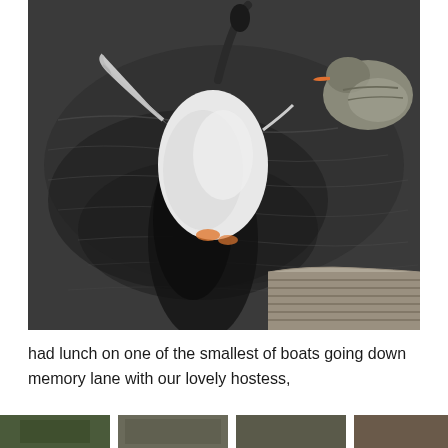[Figure (photo): Photograph of ducks/geese on dark water near a wooden dock. One large white goose is prominent in the center-left, partially landing or moving on the water surface with wings spread. Another grey and white duck with an orange bill is visible in the upper right. A white bird with orange feet is partially visible in the lower right. A wooden striped dock edge is visible in the bottom right corner. The water is dark and reflective.]
had lunch on one of the smallest of boats going down memory lane with our lovely hostess,
[Figure (photo): Partial thumbnail strip of smaller photos at the bottom of the page, partially cut off.]